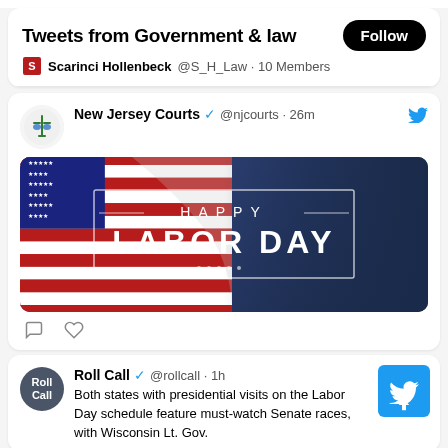Tweets from Government & law
Scarinci Hollenbeck @S_H_Law · 10 Members
New Jersey Courts ✓ @njcourts · 26m
[Figure (screenshot): Happy Labor Day promotional image with American flag and dark blue background with text 'HAPPY LABOR DAY']
Roll Call ✓ @rollcall · 1h
Both states with presidential visits on the Labor Day schedule feature must-watch Senate races, with Wisconsin Lt. Gov.